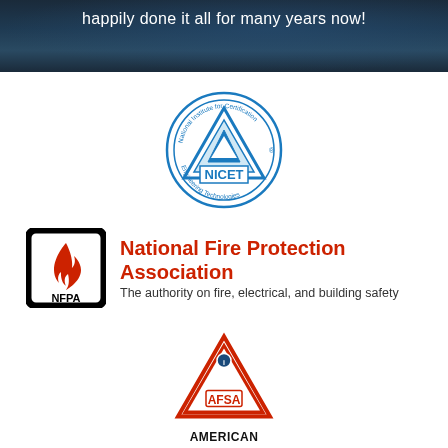happily done it all for many years now!
[Figure (logo): NICET (National Institute for Certification in Engineering Technologies) circular logo in blue]
[Figure (logo): NFPA logo: black square frame with red flame, NFPA text below. Beside it: National Fire Protection Association – The authority on fire, electrical, and building safety]
[Figure (logo): AFSA (American Fire Sprinkler Association) triangle logo in red with AFSA text, followed by organization name below]